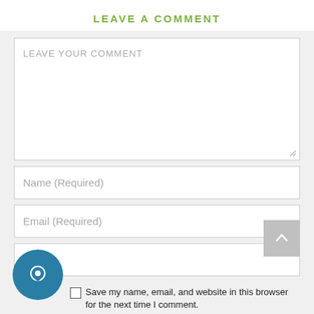LEAVE A COMMENT
[Figure (screenshot): Web comment form with textarea labeled LEAVE YOUR COMMENT, input fields for Name (Required), Email (Required), Website, a checkbox to save name/email/website for next comment, a back-to-top arrow button, and a chat bubble icon.]
Save my name, email, and website in this browser for the next time I comment.